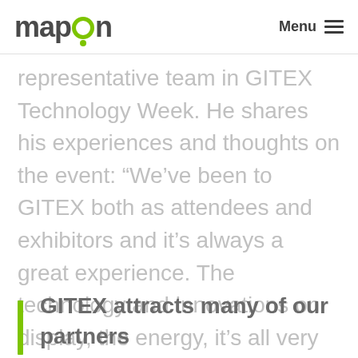mapon | Menu
representative team in GITEX Technology Week. He shares his experiences and thoughts on the event: “We’ve been to GITEX both as attendees and exhibitors and it’s always a great experience. The technology and innovations on display, the energy, it’s all very impressive.”
“Most importantly, however,
GITEX attracts many of our partners